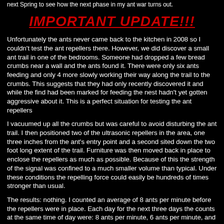next Spring to see how the next phase in my ant war turns out.
IMPORTANT UPDATE!!!
Unfortunately the ants never came back to the kitchen in 2008 so I couldn't test the ant repellers there. However, we did discover a small ant trail in one of the bedrooms. Someone had dropped a few bread crumbs near a wall and the ants found it. There were only six ants feeding and only 4 more slowly working their way along the trail to the crumbs. This suggests that they had only recently discovered it and while the find had been marked for feeding the nest hadn't yet gotten aggressive about it. This is a perfect situation for testing the ant repellers
I vacuumed up all the crumbs but was careful to avoid disturbing the ant trail. I then positioned two of the ultrasonic repellers in the area, one three inches from the ant's entry point and a second sited down the two foot long extent of the trail. Furniture was then moved back in place to enclose the repellers as much as possible. Because of this the strength of the signal was confined to a much smaller volume than typical. Under these conditions the repelling force could easily be hundreds of times stronger than usual.
The results: nothing. I counted an average of 8 ants per minute before the repellers were in place. Each day for the next three days the counts at the same time of day were: 8 ants per minute, 6 ants per minute, and 7 ants per minute.